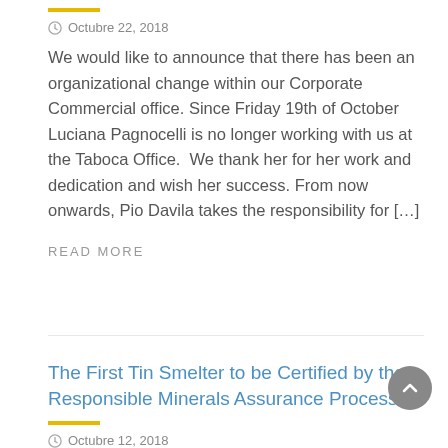Octubre 22, 2018
We would like to announce that there has been an organizational change within our Corporate Commercial office. Since Friday 19th of October Luciana Pagnocelli is no longer working with us at the Taboca Office.  We thank her for her work and dedication and wish her success. From now onwards, Pio Davila takes the responsibility for […]
READ MORE
The First Tin Smelter to be Certified by the Responsible Minerals Assurance Process
Octubre 12, 2018
We are proud to announce that as of